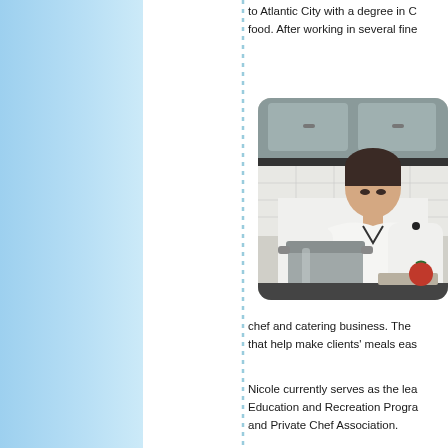to Atlantic City with a degree in C... food. After working in several fine...
[Figure (photo): A female chef in a white chef's coat working at a stove, with a large stainless steel pot and food items on the counter.]
chef and catering business. The that help make clients' meals eas...
Nicole currently serves as the lea... Education and Recreation Progra... and Private Chef Association.